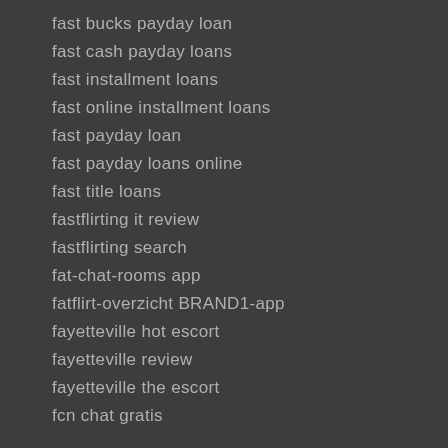fast bucks payday loan
fast cash payday loans
fast installment loans
fast online installment loans
fast payday loan
fast payday loans online
fast title loans
fastflirting it review
fastflirting search
fat-chat-rooms app
fatflirt-overzicht BRAND1-app
fayetteville hot escort
fayetteville review
fayetteville the escort
fcn chat gratis